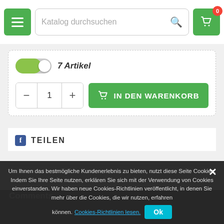[Figure (screenshot): Navigation bar with green hamburger menu button, search bar reading 'Katalog durchsuchen', and green cart button with red badge showing 0]
7 Artikel
IN DEN WARENKORB
TEILEN
Comments
Um Ihnen das bestmögliche Kundenerlebnis zu bieten, nutzt diese Seite Cookies. Indem Sie Ihre Seite nutzen, erklären Sie sich mit der Verwendung von Cookies einverstanden. Wir haben neue Cookies-Richtlinien veröffentlicht, in denen Sie mehr über die Cookies, die wir nutzen, erfahren können. Cookies-Richtlinien lesen. Ok